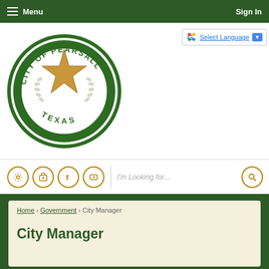Menu | Sign In
[Figure (logo): City of Pearsall Texas circular seal with gold star and laurel wreath on green background]
[Figure (screenshot): Google Translate widget with Select Language button]
[Figure (infographic): Navigation icon bar with settings, share, Facebook, YouTube icons, search bar with 'I'm Looking for...' placeholder and search button]
Home › Government › City Manager
City Manager